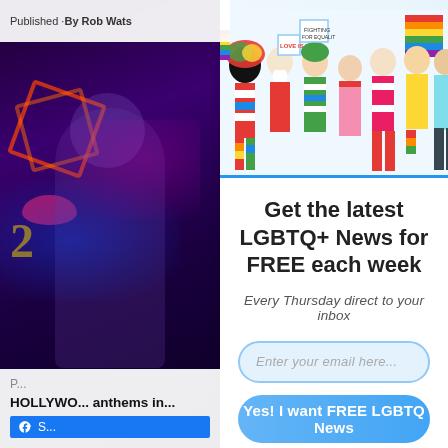By Rob Wats...
[Figure (photo): Group of diverse LGBTQ+ people in colorful outfits holding pride signs and rainbow flags]
Get the latest LGBTQ+ News for FREE each week
Every Thursday direct to your inbox
Enter your email here...
Yes! I want FREE LGBTQ News
[Figure (photo): Dark nightclub/entertainment background with neon stars and a person silhouette with purple/pink lighting]
HOLLYWOO... anthems in...